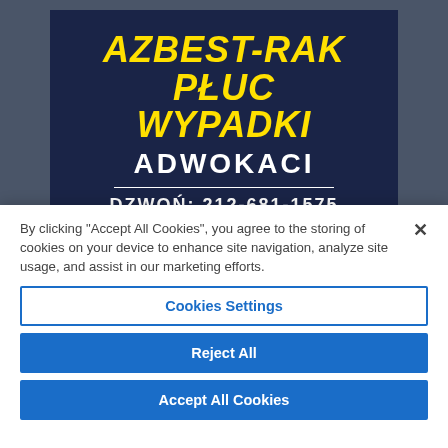[Figure (other): Advertisement banner for legal services on dark navy background with yellow and white bold text reading 'AZBEST-RAK PŁUC WYPADKI ADWOKACI' and phone number 'DZWOŃ: 212-681-1575']
By clicking "Accept All Cookies", you agree to the storing of cookies on your device to enhance site navigation, analyze site usage, and assist in our marketing efforts.
Cookies Settings
Reject All
Accept All Cookies